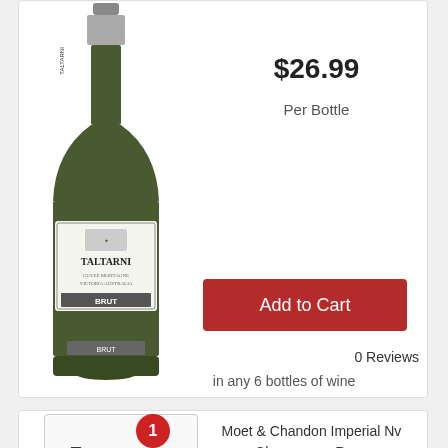[Figure (photo): Taltarni Brut sparkling wine bottle, dark green glass with white label]
$26.99
Per Bottle
Add to Cart
0 Reviews
in any 6 bottles of wine
[Figure (photo): Moet & Chandon Imperial Nv Champagne Rose bottle, pink packaging with star]
Moet & Chandon Imperial Nv Champagne Rose
750(ml)
[Figure (infographic): Cart icon with red badge showing quantity 1]